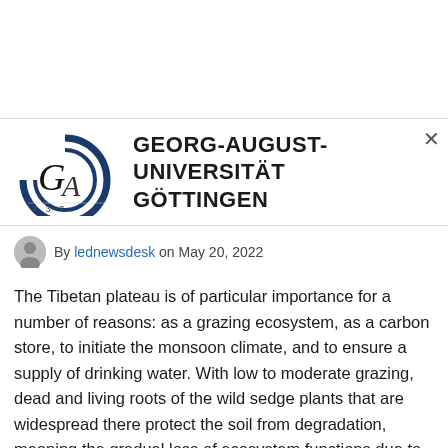[Figure (logo): Georg-August-Universität Göttingen logo with stylized G-A letters in dark blue and italic script, year 737 below]
GEORG-AUGUST-UNIVERSITÄT GÖTTINGEN
By lednewsdesk on May 20, 2022
The Tibetan plateau is of particular importance for a number of reasons: as a grazing ecosystem, as a carbon store, to initiate the monsoon climate, and to ensure a supply of drinking water. With low to moderate grazing, dead and living roots of the wild sedge plants that are widespread there protect the soil from degradation, meaning the gradual loss of ecosystem functions due to erosion. An international research team led by the Universities of Kiel, Göttingen and Hannover has now identified for the first time on a microbiological basis the critical threshold